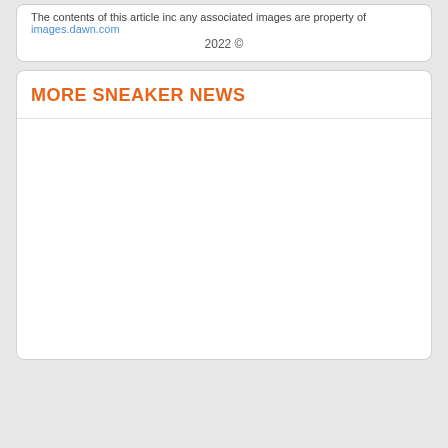The contents of this article inc any associated images are property of images.dawn.com
2022 ©
MORE SNEAKER NEWS